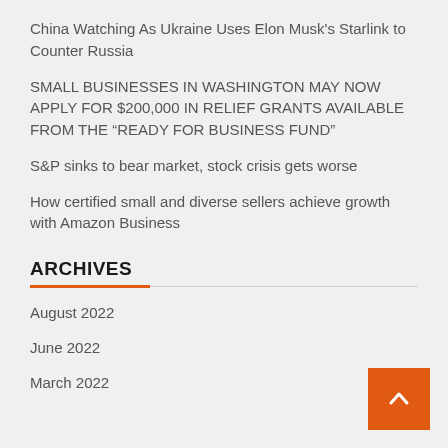China Watching As Ukraine Uses Elon Musk's Starlink to Counter Russia
SMALL BUSINESSES IN WASHINGTON MAY NOW APPLY FOR $200,000 IN RELIEF GRANTS AVAILABLE FROM THE “READY FOR BUSINESS FUND”
S&P sinks to bear market, stock crisis gets worse
How certified small and diverse sellers achieve growth with Amazon Business
ARCHIVES
August 2022
June 2022
March 2022